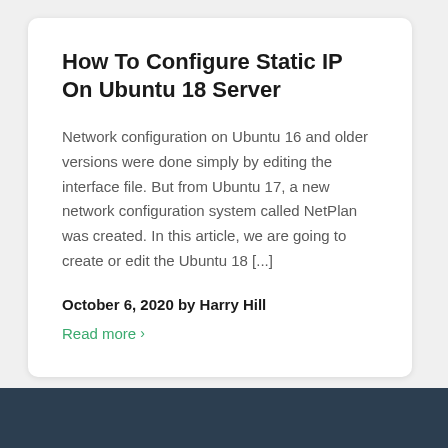How To Configure Static IP On Ubuntu 18 Server
Network configuration on Ubuntu 16 and older versions were done simply by editing the interface file. But from Ubuntu 17, a new network configuration system called NetPlan was created. In this article, we are going to create or edit the Ubuntu 18 [...]
October 6, 2020 by Harry Hill
Read more ›